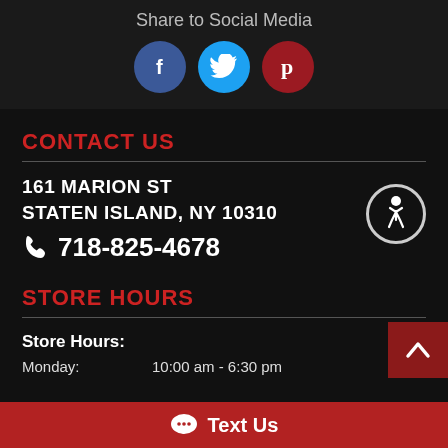Share to Social Media
[Figure (illustration): Three social media icons: Facebook (blue circle with 'f'), Twitter (light blue circle with bird), Pinterest (dark red circle with 'p')]
CONTACT US
161 MARION ST
STATEN ISLAND, NY 10310
📞 718-825-4678
[Figure (illustration): Wheelchair accessibility icon inside a circle]
STORE HOURS
Store Hours:
Monday:   10:00 am - 6:30 pm
Text Us